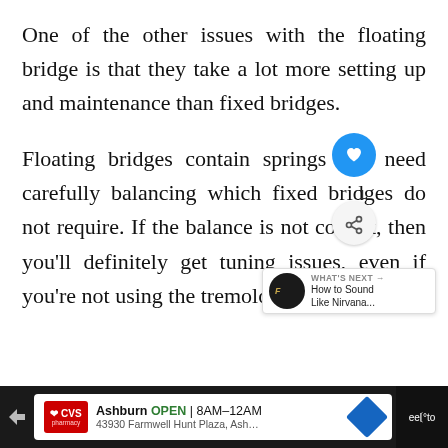One of the other issues with the floating bridge is that they take a lot more setting up and maintenance than fixed bridges.
Floating bridges contain springs that need carefully balancing which fixed bridges do not require. If the balance is not correct, then you'll definitely get tuning issues, even if you're not using the tremolo arm.
[Figure (screenshot): UI overlay elements: heart/like button (blue circle with heart icon, count=1), share button, 'What's Next' card showing Fender logo thumbnail and text 'How to Sound Like Nirvana...']
[Figure (screenshot): Advertisement bar at bottom: CVS Pharmacy ad showing 'Ashburn OPEN 8AM-12AM, 43930 Farmwell Hunt Plaza, Ash...' with navigation diamond icon on dark background]